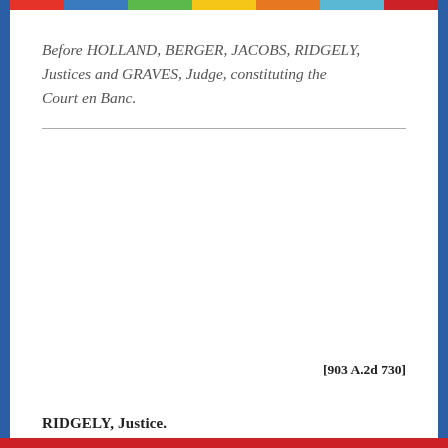Before HOLLAND, BERGER, JACOBS, RIDGELY, Justices and GRAVES, Judge, constituting the Court en Banc.
[903 A.2d 730]
RIDGELY, Justice.